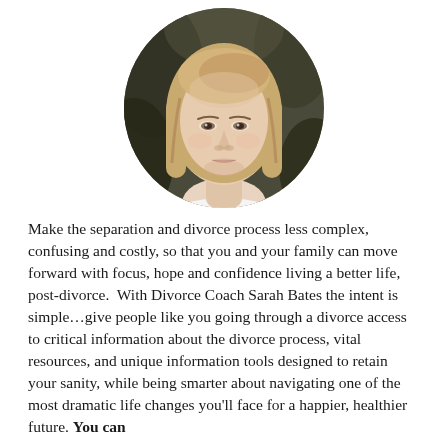[Figure (photo): Circular portrait photo of a blonde woman (Divorce Coach Sarah Bates) with long straight hair, wearing a white top, photographed against a blurred dark outdoor background.]
Make the separation and divorce process less complex, confusing and costly, so that you and your family can move forward with focus, hope and confidence living a better life, post-divorce.  With Divorce Coach Sarah Bates the intent is simple…give people like you going through a divorce access to critical information about the divorce process, vital resources, and unique information tools designed to retain your sanity, while being smarter about navigating one of the most dramatic life changes you'll face for a happier, healthier future. You can